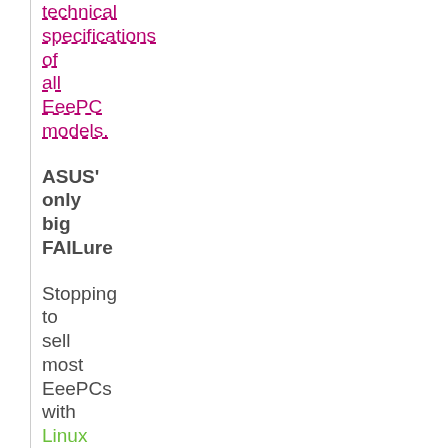technical specifications of all EeePC models.
ASUS' only big FAILure
Stopping to sell most EeePCs with Linux and cowardly teaming up with Microsoft after having shown big courage to come